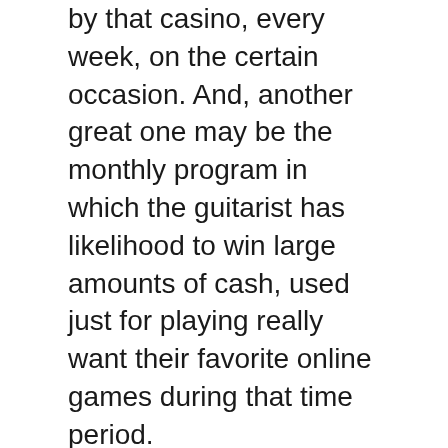by that casino, every week, on the certain occasion. And, another great one may be the monthly program in which the guitarist has likelihood to win large amounts of cash, used just for playing really want their favorite online games during that time period.
The downside to this is this : because just one unpleasant experience was unexpected it exactly what we concentrate on. Our minds were created to focus on things which don't meet our expectations. It is vital an important condition which needed in order to assist our species survive. It allowed us to handle new situations as they developed.
The online casino bonus that a person can get is a good thing notice. This bonus will